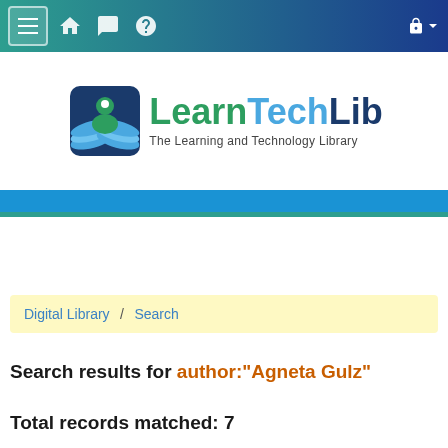[Figure (screenshot): LearnTechLib website navigation bar with hamburger menu, home, chat, and help icons on teal-to-navy gradient background, with lock icon on right]
[Figure (logo): LearnTechLib logo with open book icon and text 'LearnTechLib - The Learning and Technology Library']
Digital Library / Search
Search results for author:"Agneta Gulz"
Total records matched: 7